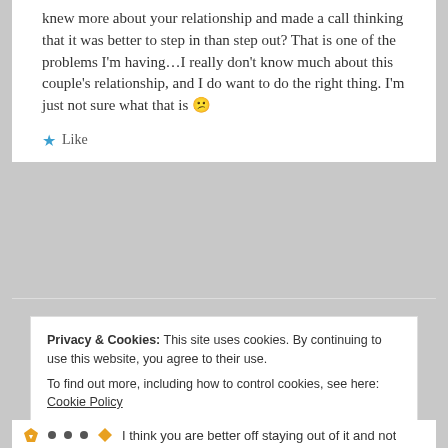knew more about your relationship and made a call thinking that it was better to step in than step out? That is one of the problems I'm having…I really don't know much about this couple's relationship, and I do want to do the right thing. I'm just not sure what that is 😕
⭐ Like
Privacy & Cookies: This site uses cookies. By continuing to use this website, you agree to their use. To find out more, including how to control cookies, see here: Cookie Policy
Close and accept
I think you are better off staying out of it and not